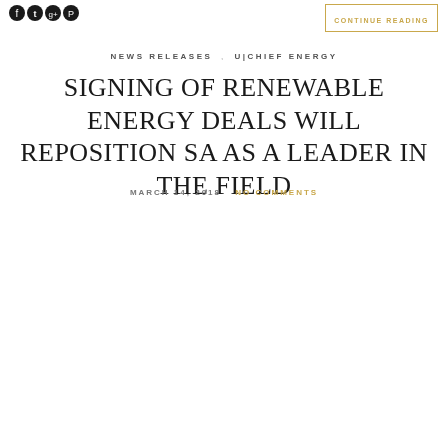CONTINUE READING
NEWS RELEASES , U|CHIEF ENERGY
SIGNING OF RENEWABLE ENERGY DEALS WILL REPOSITION SA AS A LEADER IN THE FIELD
MARCH 14, 2018   NO COMMENTS